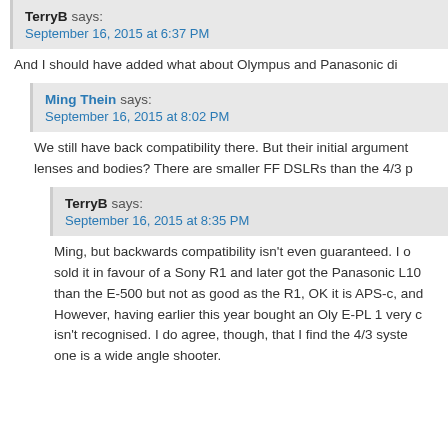TerryB says: September 16, 2015 at 6:37 PM
And I should have added what about Olympus and Panasonic di
Ming Thein says: September 16, 2015 at 8:02 PM
We still have back compatibility there. But their initial argument lenses and bodies? There are smaller FF DSLRs than the 4/3 p
TerryB says: September 16, 2015 at 8:35 PM
Ming, but backwards compatibility isn't even guaranteed. I o sold it in favour of a Sony R1 and later got the Panasonic L10 than the E-500 but not as good as the R1, OK it is APS-c, and However, having earlier this year bought an Oly E-PL 1 very c isn't recognised. I do agree, though, that I find the 4/3 syste one is a wide angle shooter.